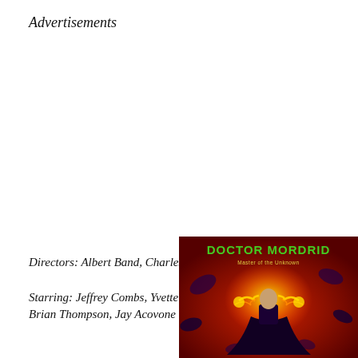Advertisements
Directors: Albert Band, Charles Band

Starring: Jeffrey Combs, Yvette Nipar, Brian Thompson, Jay Acovone
[Figure (illustration): Movie poster for Doctor Mordrid: Master of the Unknown, showing a dark caped figure with glowing energy bolts on a red background with the title in green and yellow text]